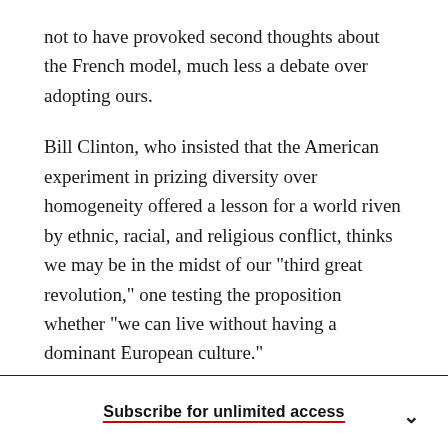not to have provoked second thoughts about the French model, much less a debate over adopting ours.
Bill Clinton, who insisted that the American experiment in prizing diversity over homogeneity offered a lesson for a world riven by ethnic, racial, and religious conflict, thinks we may be in the midst of our "third great revolution," one testing the proposition whether "we can live without having a dominant European culture."
The revolution of multiculturalism has swept
Subscribe for unlimited access